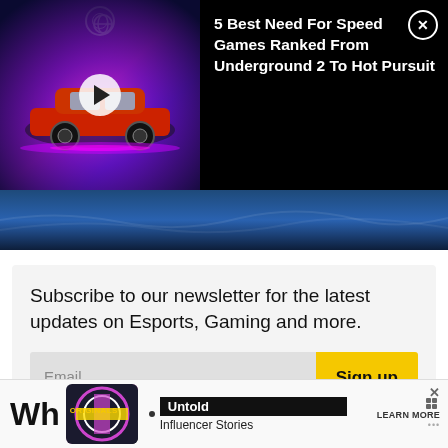[Figure (screenshot): Video thumbnail showing a racing car with neon purple/blue lighting, with a play button overlay and globe icon. Black panel to the right with video title text and close button.]
5 Best Need For Speed Games Ranked From Underground 2 To Hot Pursuit
5 BEST NEED FOR SPEED GAMES RANKED: FROM UNDERGROUND 2 TO HOT PURSUIT
[Figure (photo): Blue-tinted image strip, appears to show a landscape or water scene.]
Subscribe to our newsletter for the latest updates on Esports, Gaming and more.
Email
Sign up
[Figure (screenshot): Advertisement banner at the bottom showing 'Wh' text, Originals logo, a dot, Untold Influencer Stories text, and Learn More button.]